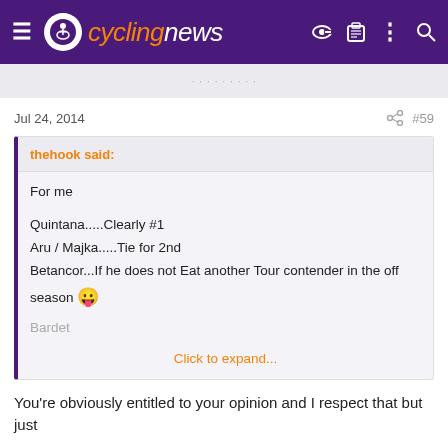cyclingnews
Jul 24, 2014   #59
thehook said:
For me
Quintana.....Clearly #1
Aru / Majka.....Tie for 2nd
Betancor...If he does not Eat another Tour contender in the off season
Bardet
Click to expand...
You're obviously entitled to your opinion and I respect that but just